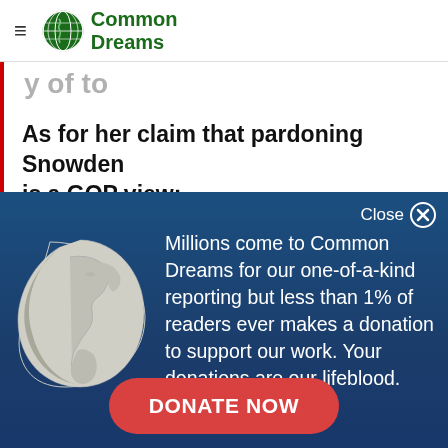Common Dreams
y of to
As for her claim that pardoning Snowden is a GOP view:
Close
[Figure (illustration): Common Dreams globe logo illustration in light gray/white on dark blue background showing Americas continent outline]
Millions come to Common Dreams for our one-of-a-kind reporting but less than 1% of readers ever makes a donation to support our work. Your donations are our lifeblood.
DONATE NOW